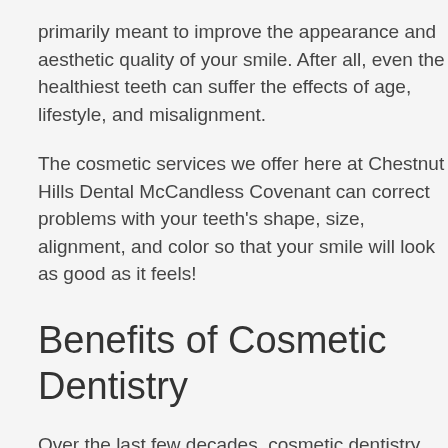primarily meant to improve the appearance and aesthetic quality of your smile. After all, even the healthiest teeth can suffer the effects of age, lifestyle, and misalignment.
The cosmetic services we offer here at Chestnut Hills Dental McCandless Covenant can correct problems with your teeth's shape, size, alignment, and color so that your smile will look as good as it feels!
Benefits of Cosmetic Dentistry
Over the last few decades, cosmetic dentistry has become increasingly commonplace as more and more Americans look for a healthier, prettier smile.